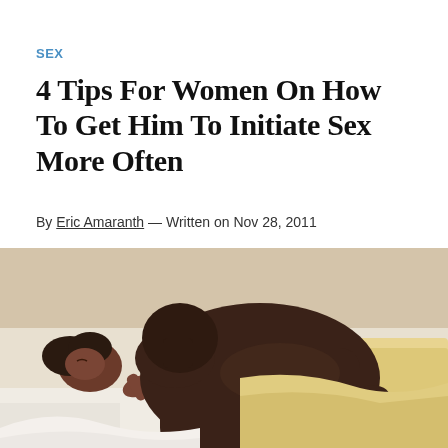SEX
4 Tips For Women On How To Get Him To Initiate Sex More Often
By Eric Amaranth — Written on Nov 28, 2011
[Figure (photo): A couple in an intimate embrace lying in bed with white and yellow sheets, viewed from the side.]